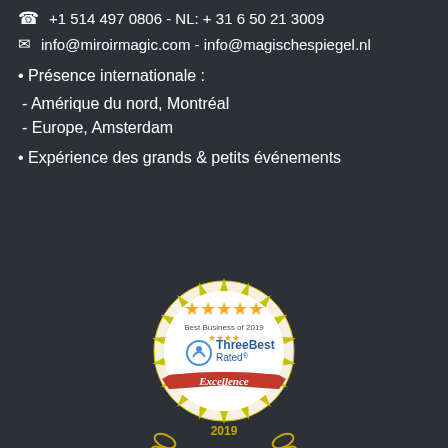+1 514 497 0806 - NL: + 31 6 50 21 3009
info@miroirmagic.com - info@magischespiegel.nl
• Présence internationale :
- Amérique du nord, Montréal
- Europe, Amsterdam
• Expérience des grands & petits événements
[Figure (logo): ThreeBest Rated - Best Business of 2019 Excellence badge with gold stars]
[Figure (logo): 2019 TOP 3 Photo Booth Companies in Montreal badge with gold laurel wreath and stars]